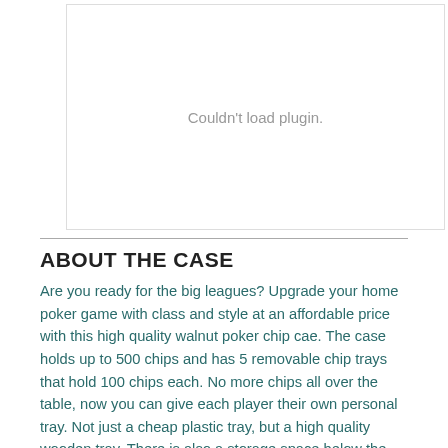[Figure (other): Plugin placeholder area showing 'Couldn't load plugin.' message]
ABOUT THE CASE
Are you ready for the big leagues? Upgrade your home poker game with class and style at an affordable price with this high quality walnut poker chip cae. The case holds up to 500 chips and has 5 removable chip trays that hold 100 chips each. No more chips all over the table, now you can give each player their own personal tray. Not just a cheap plastic tray, but a high quality wooden tray. There is also a storage space below the trays to